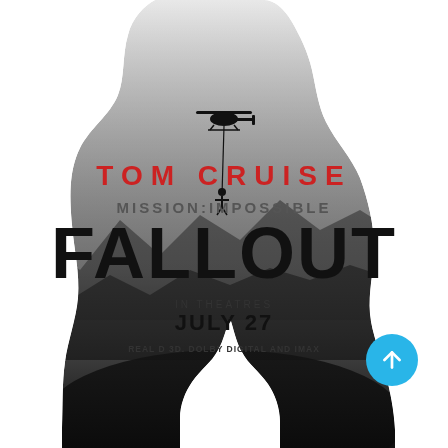[Figure (illustration): Mission: Impossible – Fallout movie poster. A silhouette of a man in a suit dominates the image. Inside the silhouette, a black-and-white photo shows a helicopter with a person rappelling below it against a misty mountain landscape. Text overlay reads: TOM CRUISE (in red), MISSION:IMPOSSIBLE (in grey), FALLOUT (in large black letters), IN THEATRES JULY 27, REAL D 3D, DOLBY DIGITAL, IMAX. A teal/cyan circular scroll-up button overlays the bottom-right.]